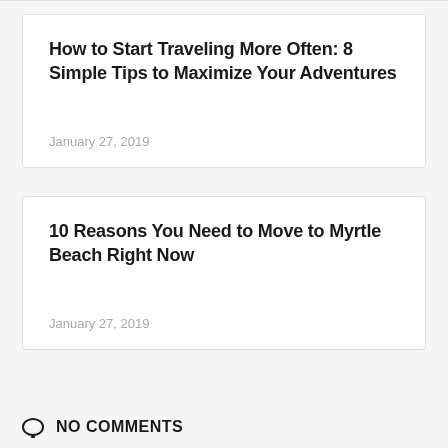How to Start Traveling More Often: 8 Simple Tips to Maximize Your Adventures
January 27, 2019
10 Reasons You Need to Move to Myrtle Beach Right Now
January 27, 2019
NO COMMENTS